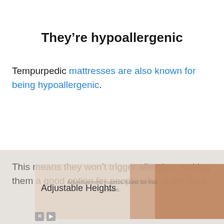They’re hypoallergenic
Tempurpedic mattresses are also known for being hypoallergenic.
This means they won’t trigger allergies, making them a good option for people who suffer from
[Figure (other): Advertisement overlay showing 'Adjustable Heights' with close and play buttons and a decorative image on the right side]